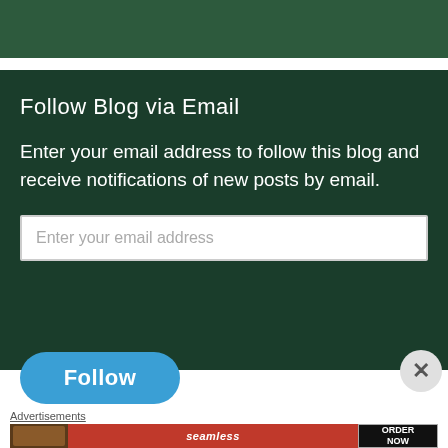[Figure (screenshot): Dark green top bar / header area of a blog website]
Follow Blog via Email
Enter your email address to follow this blog and receive notifications of new posts by email.
Enter your email address
Follow
Advertisements
[Figure (screenshot): Seamless food delivery advertisement banner with pizza image, Seamless logo, and ORDER NOW button]